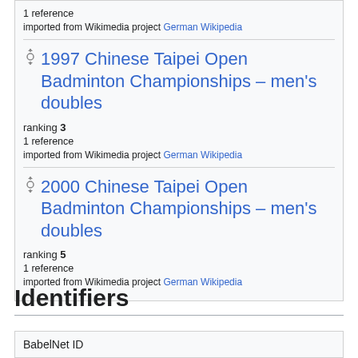1 reference
imported from Wikimedia project German Wikipedia
1997 Chinese Taipei Open Badminton Championships – men's doubles
ranking 3
1 reference
imported from Wikimedia project German Wikipedia
2000 Chinese Taipei Open Badminton Championships – men's doubles
ranking 5
1 reference
imported from Wikimedia project German Wikipedia
Identifiers
BabelNet ID